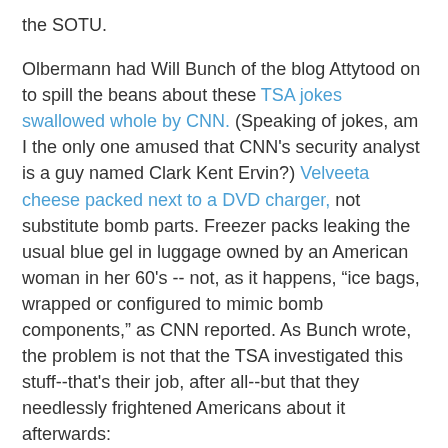the SOTU.
Olbermann had Will Bunch of the blog Attytood on to spill the beans about these TSA jokes swallowed whole by CNN. (Speaking of jokes, am I the only one amused that CNN's security analyst is a guy named Clark Kent Ervin?) Velveeta cheese packed next to a DVD charger, not substitute bomb parts. Freezer packs leaking the usual blue gel in luggage owned by an American woman in her 60's -- not, as it happens, "ice bags, wrapped or configured to mimic bomb components," as CNN reported. As Bunch wrote, the problem is not that the TSA investigated this stuff--that's their job, after all--but that they needlessly frightened Americans about it afterwards:
In the end, TSA inspectors did the right thing in thoroughly checking the suspicious baggage, but the aftermath raises a lot of questions. Why did TSA officials put such blatantly incorrect information into their memo and send it out across America. And more importantly, who decided to leak this memo to NBC News,